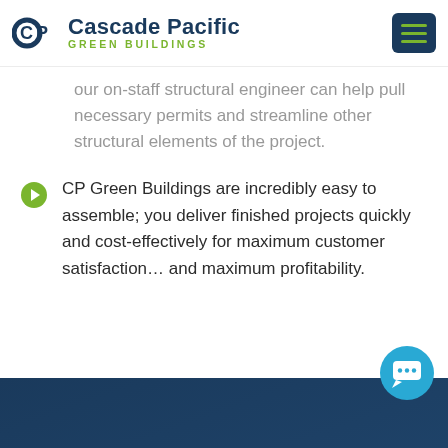Cascade Pacific GREEN BUILDINGS
Our on-staff structural engineer can help pull necessary permits and streamline other structural elements of the project.
CP Green Buildings are incredibly easy to assemble; you deliver finished projects quickly and cost-effectively for maximum customer satisfaction… and maximum profitability.